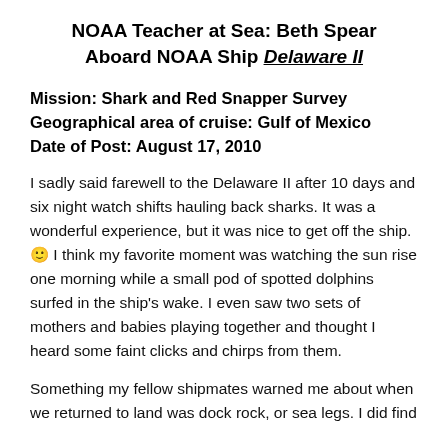NOAA Teacher at Sea: Beth Spear Aboard NOAA Ship Delaware II
Mission: Shark and Red Snapper Survey
Geographical area of cruise: Gulf of Mexico
Date of Post: August 17, 2010
I sadly said farewell to the Delaware II after 10 days and six night watch shifts hauling back sharks. It was a wonderful experience, but it was nice to get off the ship. 🙂 I think my favorite moment was watching the sun rise one morning while a small pod of spotted dolphins surfed in the ship's wake. I even saw two sets of mothers and babies playing together and thought I heard some faint clicks and chirps from them.
Something my fellow shipmates warned me about when we returned to land was dock rock, or sea legs. I did find myself swaying as I tried to find my land legs after my time at sea.